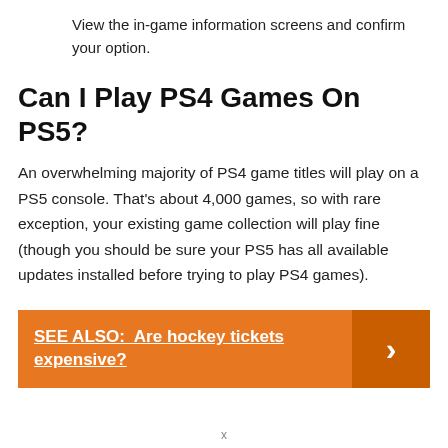View the in-game information screens and confirm your option.
Can I Play PS4 Games On PS5?
An overwhelming majority of PS4 game titles will play on a PS5 console. That’s about 4,000 games, so with rare exception, your existing game collection will play fine (though you should be sure your PS5 has all available updates installed before trying to play PS4 games).
SEE ALSO:  Are hockey tickets expensive?